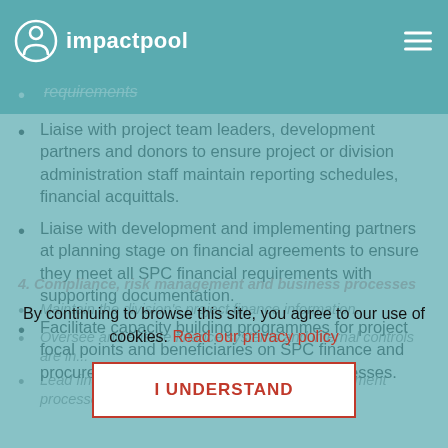impactpool
Liaise with project team leaders, development partners and donors to ensure project or division administration staff maintain reporting schedules, financial acquittals.
Liaise with development and implementing partners at planning stage on financial agreements to ensure they meet all SPC financial requirements with supporting documentation.
Facilitate capacity building programmes for project focal points and beneficiaries on SPC finance and procurement policy requirements and processes.
4. Compliance, risk management and business processes
Maintain the division's project finance information.
Oversee and ensure finance systems and internal controls are in...
Lead finance's input to the division's risk management processes.
By continuing to browse this site, you agree to our use of cookies. Read our privacy policy
I UNDERSTAND